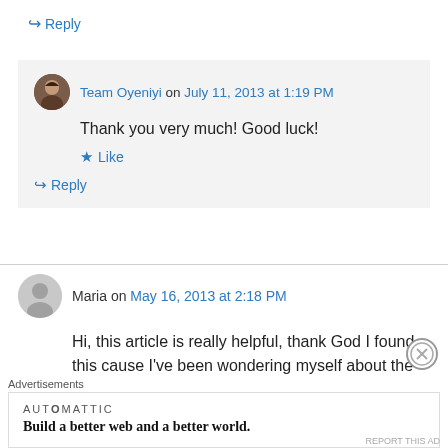↪ Reply
Team Oyeniyi on July 11, 2013 at 1:19 PM
Thank you very much! Good luck!
★ Like
↪ Reply
Maria on May 16, 2013 at 2:18 PM
Hi, this article is really helpful, thank God I found this cause I've been wondering myself about the
Advertisements
AUTOMATTIC
Build a better web and a better world.